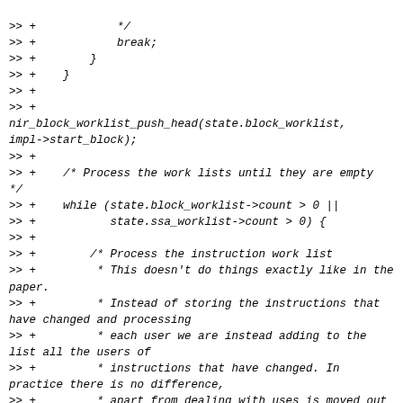>> +            */
>> +            break;
>> +        }
>> +    }
>> +
>> +
nir_block_worklist_push_head(state.block_worklist,
impl->start_block);
>> +
>> +    /* Process the work lists until they are empty
*/
>> +    while (state.block_worklist->count > 0 ||
>> +           state.ssa_worklist->count > 0) {
>> +
>> +        /* Process the instruction work list
>> +         * This doesn't do things exactly like in the
paper.
>> +         * Instead of storing the instructions that
have changed and processing
>> +         * each user we are instead adding to the
list all the users of
>> +         * instructions that have changed. In
practice there is no difference,
>> +         * apart from dealing with uses is moved out
to a separate function.
>> +         */
>> +        while (state.ssa_worklist->count > 0) {
>> +
>> +            /* All instructions in the list are here
because